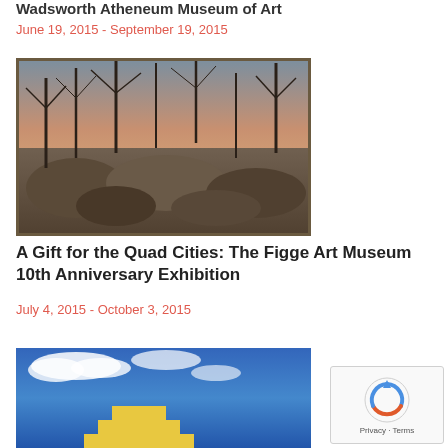Wadsworth Atheneum Museum of Art
June 19, 2015 - September 19, 2015
[Figure (photo): Painting of a forest scene with rocky terrain, bare trees, and a pinkish sky in the background, viewed through a frame]
A Gift for the Quad Cities: The Figge Art Museum 10th Anniversary Exhibition
July 4, 2015 - October 3, 2015
[Figure (photo): Photo of a yellow stepped/pyramid architectural structure against a blue sky with white clouds]
[Figure (other): reCAPTCHA widget showing recycling arrow icon with Privacy and Terms text]